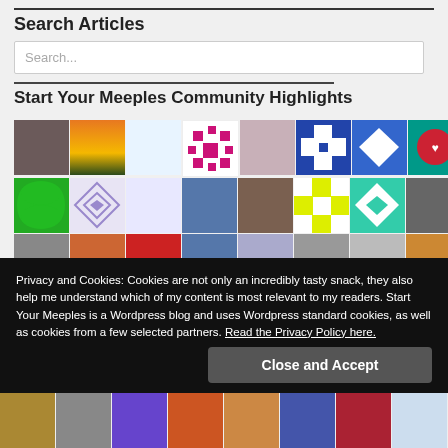Search Articles
Search...
Start Your Meeples Community Highlights
[Figure (photo): Grid of community member avatars and profile pictures in rows]
Privacy and Cookies: Cookies are not only an incredibly tasty snack, they also help me understand which of my content is most relevant to my readers. Start Your Meeples is a Wordpress blog and uses Wordpress standard cookies, as well as cookies from a few selected partners. Read the Privacy Policy here.
Close and Accept